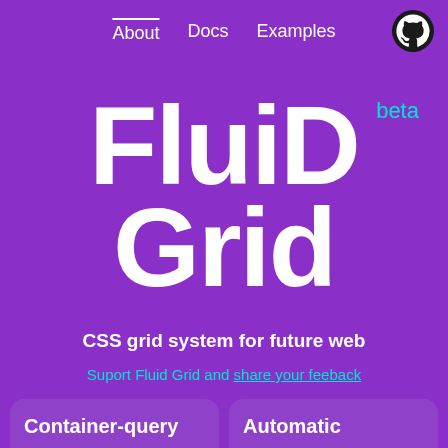About  Docs  Examples
FluiD Grid beta
CSS grid system for future web
Suport Fluid Grid and share your feeback
Container-query
Automatic